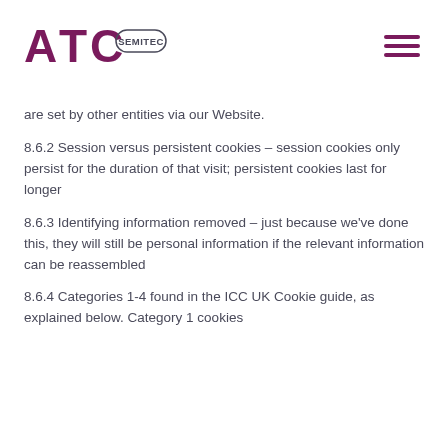[Figure (logo): ATC Semitec logo with purple ATC letters and Semitec in a pill/oval shape]
are set by other entities via our Website.
8.6.2 Session versus persistent cookies – session cookies only persist for the duration of that visit; persistent cookies last for longer
8.6.3 Identifying information removed – just because we've done this, they will still be personal information if the relevant information can be reassembled
8.6.4 Categories 1-4 found in the ICC UK Cookie guide, as explained below. Category 1 cookies